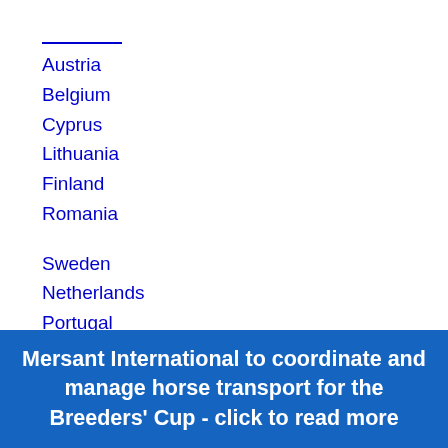Austria
Belgium
Cyprus
Lithuania
Finland
Romania
Sweden
Netherlands
Portugal
Czech Republic
Malta
Mersant International to coordinate and manage horse transport for the Breeders' Cup - click to read more